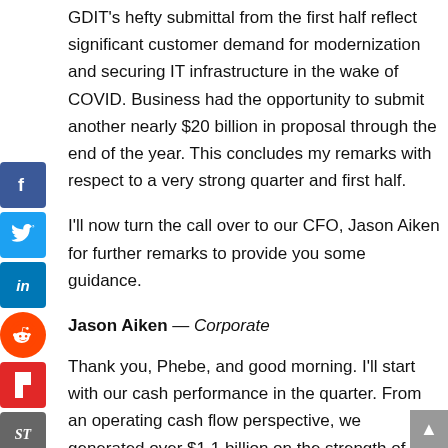GDIT's hefty submittal from the first half reflect significant customer demand for modernization and securing IT infrastructure in the wake of COVID. Business had the opportunity to submit another nearly $20 billion in proposal through the end of the year. This concludes my remarks with respect to a very strong quarter and first half.
I'll now turn the call over to our CFO, Jason Aiken for further remarks to provide you some guidance.
Jason Aiken — Corporate
Thank you, Phebe, and good morning. I'll start with our cash performance in the quarter. From an operating cash flow perspective, we generated over $1.1 billion on the strength of the Gulfstream order book and